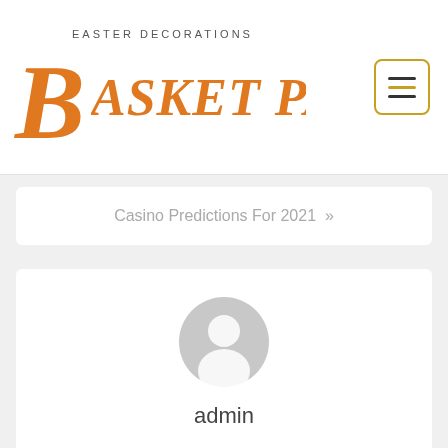[Figure (logo): Basket Parma Easter Decorations logo with orange italic text and a large decorative B, alongside a hamburger menu button with gold border]
Casino Predictions For 2021 »
[Figure (illustration): Generic user avatar icon - grey circle with person silhouette]
admin